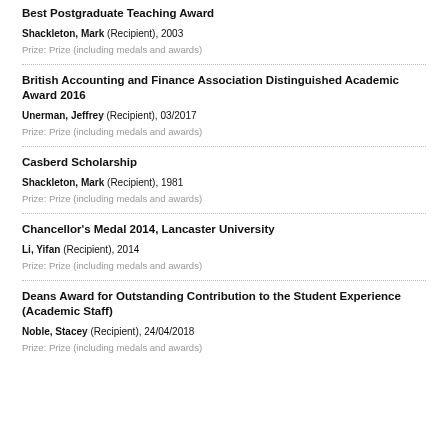Best Postgraduate Teaching Award
Shackleton, Mark (Recipient), 2003
Prize: Prize (including medals and awards)
British Accounting and Finance Association Distinguished Academic Award 2016
Unerman, Jeffrey (Recipient), 03/2017
Prize: Prize (including medals and awards)
Casberd Scholarship
Shackleton, Mark (Recipient), 1981
Prize: Prize (including medals and awards)
Chancellor's Medal 2014, Lancaster University
Li, Yifan (Recipient), 2014
Prize: Prize (including medals and awards)
Deans Award for Outstanding Contribution to the Student Experience (Academic Staff)
Noble, Stacey (Recipient), 24/04/2018
Prize: Prize (including medals and awards)